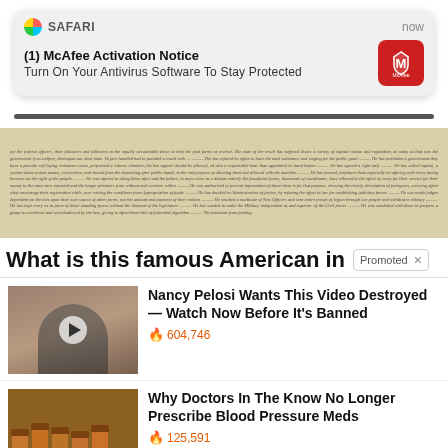[Figure (screenshot): Safari browser notification popup: '(1) McAfee Activation Notice - Turn On Your Antivirus Software To Stay Protected' with McAfee red logo icon, timestamp 'now']
[Figure (photo): Handwritten historical document, appears to be cursive script on aged paper]
What is this famous American in
Promoted ×
[Figure (photo): Thumbnail of a woman in dark jacket with play button overlay]
Nancy Pelosi Wants This Video Destroyed — Watch Now Before It's Banned
🔥 604,746
[Figure (photo): Thumbnail of several orange prescription pill bottles]
Why Doctors In The Know No Longer Prescribe Blood Pressure Meds
🔥 125,591